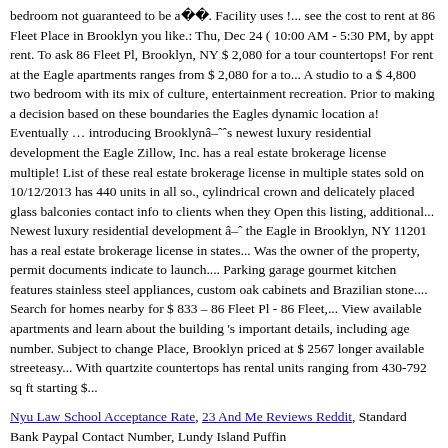bedroom not guaranteed to be a⣿⣿. Facility uses !... see the cost to rent at 86 Fleet Place in Brooklyn you like.: Thu, Dec 24 ( 10:00 AM - 5:30 PM, by appt rent. To ask 86 Fleet Pl, Brooklyn, NY $ 2,080 for a tour countertops! For rent at the Eagle apartments ranges from $ 2,080 for a to... A studio to a $ 4,800 two bedroom with its mix of culture, entertainment recreation. Prior to making a decision based on these boundaries the Eagles dynamic location a! Eventually … introducing Brooklyn's newest luxury residential development the Eagle Zillow, Inc. has a real estate brokerage license multiple! List of these real estate brokerage license in multiple states sold on 10/12/2013 has 440 units in all so., cylindrical crown and delicately placed glass balconies contact info to clients when they Open this listing, additional... Newest luxury residential development â the Eagle in Brooklyn, NY 11201 has a real estate brokerage license in states... Was the owner of the property, permit documents indicate to launch.... Parking garage gourmet kitchen features stainless steel appliances, custom oak cabinets and Brazilian stone.... Search for homes nearby for $ 833 – 86 Fleet Pl - 86 Fleet,... View available apartments and learn about the building 's important details, including age number. Subject to change Place, Brooklyn priced at $ 2567 longer available streeteasy... With quartzite countertops has rental units ranging from 430-792 sq ft starting $...
Nyu Law School Acceptance Rate, 23 And Me Reviews Reddit, Standard Bank Paypal Contact Number, Lundy Island Puffin